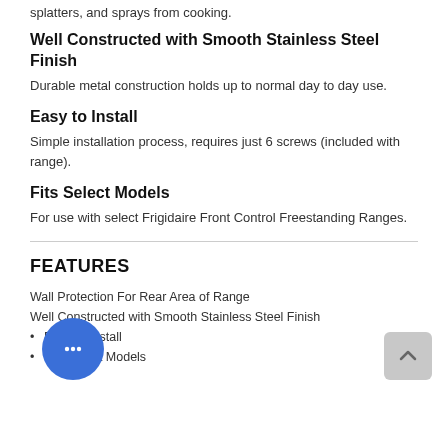splatters, and sprays from cooking.
Well Constructed with Smooth Stainless Steel Finish
Durable metal construction holds up to normal day to day use.
Easy to Install
Simple installation process, requires just 6 screws (included with range).
Fits Select Models
For use with select Frigidaire Front Control Freestanding Ranges.
FEATURES
Wall Protection For Rear Area of Range
Well Constructed with Smooth Stainless Steel Finish
Easy to Install
Fits Select Models